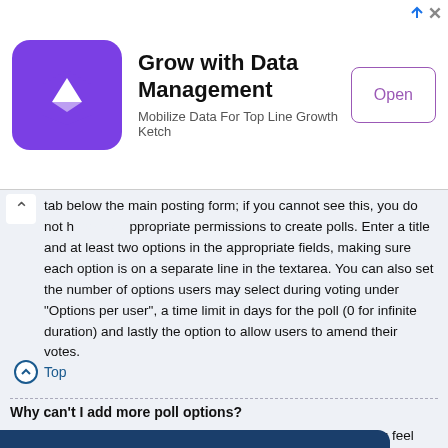[Figure (other): Advertisement banner for 'Grow with Data Management - Mobilize Data For Top Line Growth Ketch' with purple logo icon and Open button]
tab below the main posting form; if you cannot see this, you do not have the appropriate permissions to create polls. Enter a title and at least two options in the appropriate fields, making sure each option is on a separate line in the textarea. You can also set the number of options users may select during voting under “Options per user”, a time limit in days for the poll (0 for infinite duration) and lastly the option to allow users to amend their votes.
Top
Why can’t I add more poll options?
The limit for poll options is set by the board administrator. If you feel you need to add more options to your poll than the allowed amount, contact the board
This website uses cookies to ensure you get the best experience on our website. Learn more
Got it!
ator or an
always has
he poll or
edit any poll option. However, if members have already placed votes, only